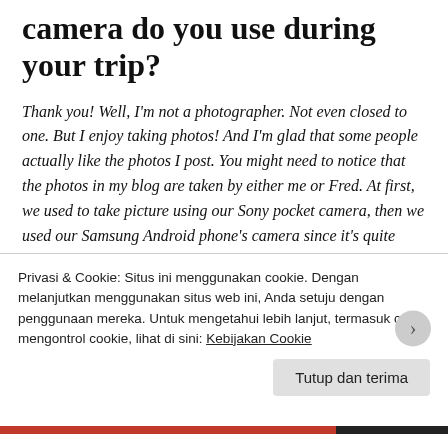camera do you use during your trip?
Thank you! Well, I'm not a photographer. Not even closed to one. But I enjoy taking photos! And I'm glad that some people actually like the photos I post. You might need to notice that the photos in my blog are taken by either me or Fred. At first, we used to take picture using our Sony pocket camera, then we used our Samsung Android phone's camera since it's quite handy. But lately, we've been using Fujifilm X20 and Sony Nex-7 It helps a lot.
Have your ever did a solo travelling?
Privasi & Cookie: Situs ini menggunakan cookie. Dengan melanjutkan menggunakan situs web ini, Anda setuju dengan penggunaan mereka. Untuk mengetahui lebih lanjut, termasuk cara mengontrol cookie, lihat di sini: Kebijakan Cookie
Tutup dan terima